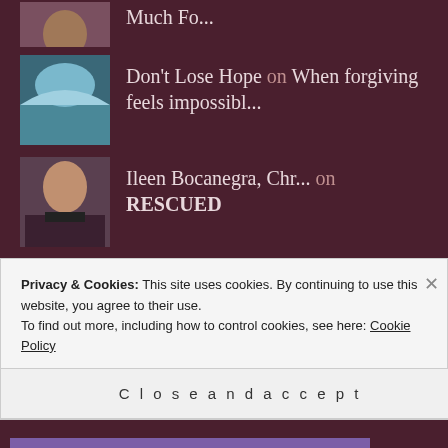Much Fo...
Don't Lose Hope on When forgiving feels impossibl...
Ileen Bocanegra, Chr... on RESCUED
ARCHIVES
February 2020
January 2020 (partial)
Privacy & Cookies: This site uses cookies. By continuing to use this website, you agree to their use. To find out more, including how to control cookies, see here: Cookie Policy
Close and accept